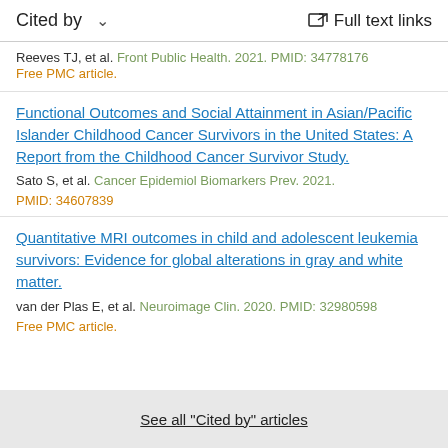Cited by   ∨   Full text links
Reeves TJ, et al. Front Public Health. 2021. PMID: 34778176
Free PMC article.
Functional Outcomes and Social Attainment in Asian/Pacific Islander Childhood Cancer Survivors in the United States: A Report from the Childhood Cancer Survivor Study.
Sato S, et al. Cancer Epidemiol Biomarkers Prev. 2021.
PMID: 34607839
Quantitative MRI outcomes in child and adolescent leukemia survivors: Evidence for global alterations in gray and white matter.
van der Plas E, et al. Neuroimage Clin. 2020. PMID: 32980598
Free PMC article.
See all "Cited by" articles